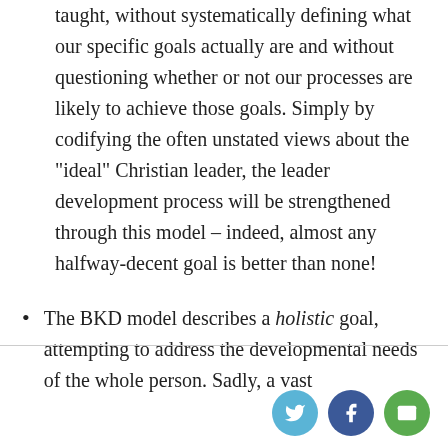taught, without systematically defining what our specific goals actually are and without questioning whether or not our processes are likely to achieve those goals. Simply by codifying the often unstated views about the “ideal” Christian leader, the leader development process will be strengthened through this model – indeed, almost any halfway-decent goal is better than none!
The BKD model describes a holistic goal, attempting to address the developmental needs of the whole person. Sadly, a vast